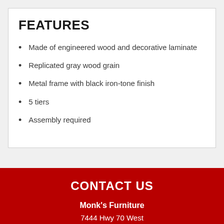FEATURES
Made of engineered wood and decorative laminate
Replicated gray wood grain
Metal frame with black iron-tone finish
5 tiers
Assembly required
CONTACT US
Monk's Furniture
7444 Hwy 70 West
La Grange, NC 28551
252-566-3172